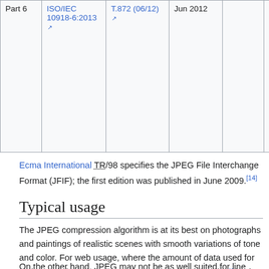|  | ISO/IEC | T.872 | Jun 2012 |  | Application printing systems |
| --- | --- | --- | --- | --- | --- |
| Part 6 | ISO/IEC 10918-6:2013 | T.872 (06/12) | Jun 2012 |  | Application printing systems |
Ecma International TR/98 specifies the JPEG File Interchange Format (JFIF); the first edition was published in June 2009.[14]
Typical usage
The JPEG compression algorithm is at its best on photographs and paintings of realistic scenes with smooth variations of tone and color. For web usage, where the amount of data used for an image is important, JPEG is very popular. JPEG/Exif is also the most common format saved by digital cameras.
On the other hand, JPEG may not be as well suited for line